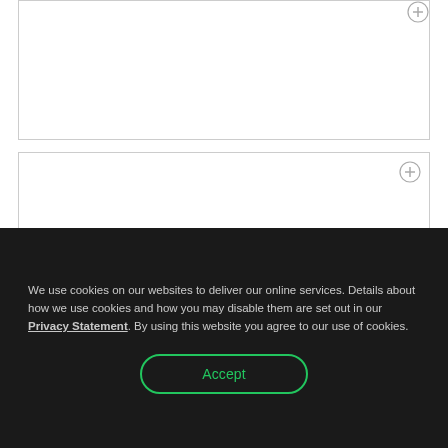[Figure (other): Empty white panel with a plus/close icon in the top-right corner]
[Figure (other): Empty white panel with a plus/close icon in the top-right corner]
We use cookies on our websites to deliver our online services. Details about how we use cookies and how you may disable them are set out in our Privacy Statement. By using this website you agree to our use of cookies.
Accept